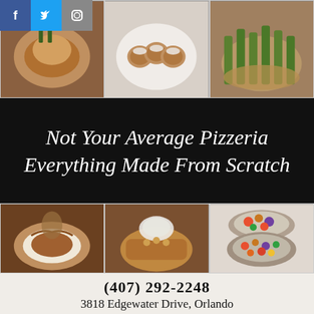[Figure (photo): Three food dish photos in a row at top of page with Facebook, Twitter, and Instagram social media icons in top-left corner]
Not Your Average Pizzeria
Everything Made From Scratch
[Figure (photo): Three food dish photos in a row showing plated entrees and dessert trays]
(407) 292-2248
3818 Edgewater Drive, Orlando